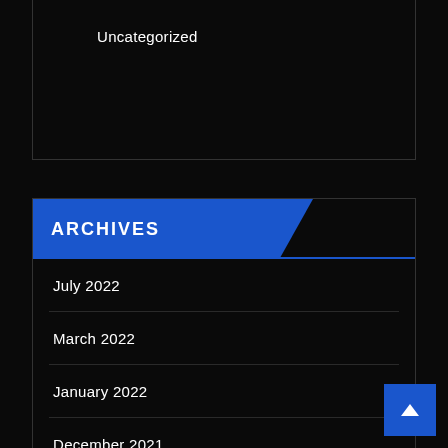Uncategorized
ARCHIVES
July 2022
March 2022
January 2022
December 2021
November 2021